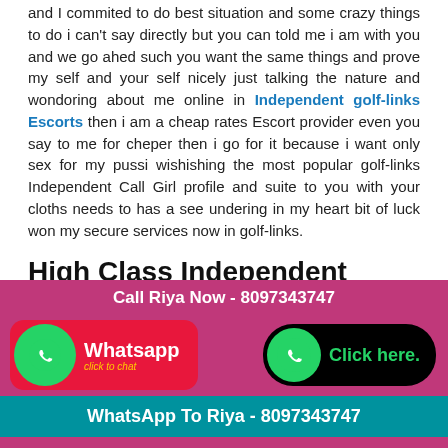and I commited to do best situation and some crazy things to do i can't say directly but you can told me i am with you and we go ahed such you want the same things and prove my self and your self nicely just talking the nature and wondoring about me online in Independent golf-links Escorts then i am a cheap rates Escort provider even you say to me for cheper then i go for it because i want only sex for my pussi wishishing the most popular golf-links Independent Call Girl profile and suite to you with your cloths needs to has a see undering in my heart bit of luck won my secure services now in golf-links.
High Class Independent Escorts Services in golf-links
People who demand the very best things in life. Our Female Call Girls in golf-links can give you contentment and feel of Heaven. And I am very unique Call Girls for according any
[Figure (infographic): Bottom banner with pink/teal background showing: Call Riya Now - 8097343747, WhatsApp button with green phone icon and red background, Click here button with green phone icon and black background, WhatsApp To Riya - 8097343747 on teal background]